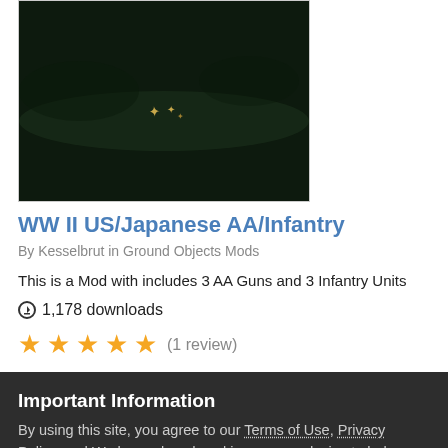[Figure (screenshot): Dark landscape/game screenshot thumbnail showing a small figure or vehicle on dark terrain]
WW II US/Japanese AA/Infantry
By Kesselbrut in Ground Objects Mods
This is a Mod with includes 3 AA Guns and 3 Infantry Units
⊙ 1,178 downloads
★★★★★ (1 review)
Important Information
By using this site, you agree to our Terms of Use, Privacy Policy, and We have placed cookies on your device to help make this website better. You can adjust your cookie settings, otherwise we'll assume you're okay to continue..
✓ I accept